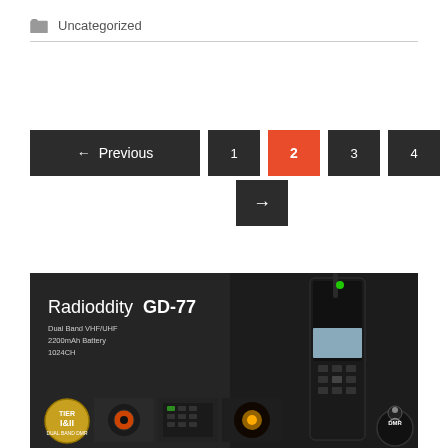Uncategorized
← Previous  1  2  3  4  5  Next →
[Figure (screenshot): Radioddity GD-77 product banner showing dual band VHF/UHF radio with 2200mAh Battery, 1024CH, Tier I&II badge, product detail images, and radio handset image]